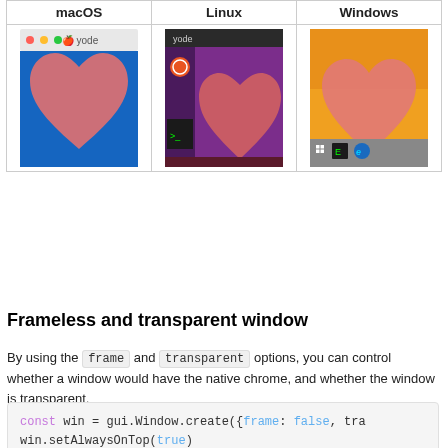| macOS | Linux | Windows |
| --- | --- | --- |
| [macOS screenshot] | [Linux screenshot] | [Windows screenshot] |
Frameless and transparent window
By using the frame and transparent options, you can control whether a window would have the native chrome, and whether the window is transparent.
[Figure (screenshot): Code block showing: const win = gui.Window.create({frame: false, tra... and win.setAlwaysOnTop(true)]